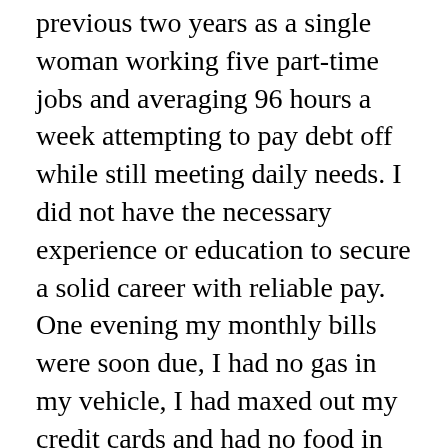previous two years as a single woman working five part-time jobs and averaging 96 hours a week attempting to pay debt off while still meeting daily needs. I did not have the necessary experience or education to secure a solid career with reliable pay. One evening my monthly bills were soon due, I had no gas in my vehicle, I had maxed out my credit cards and had no food in my fridge. In nothing more than an act of utter brokenness and despair I contacted a brothel and enquired about employment.
The madam was extremely cruel and demanding. It didn't matter whether or not I felt comfortable enough to have a session with a client, if he wanted a session with me I was required to service him. I still remember the